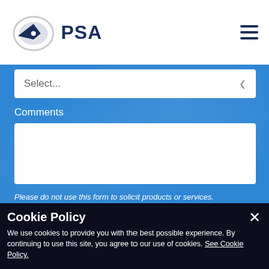[Figure (logo): PSA logo with stylized compass/plane icon and PSA text in dark navy blue]
Select...
Comments
Please do not use this form to solicit products or services. Thank you.
CONTACT US
Cookie Policy
We use cookies to provide you with the best possible experience. By continuing to use this site, you agree to our use of cookies. See Cookie Policy.